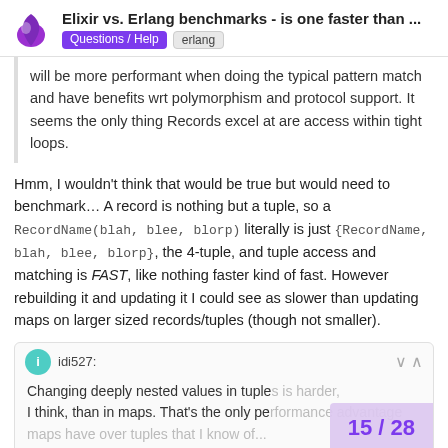Elixir vs. Erlang benchmarks - is one faster than ... | Questions / Help | erlang
will be more performant when doing the typical pattern match and have benefits wrt polymorphism and protocol support. It seems the only thing Records excel at are access within tight loops.
Hmm, I wouldn't think that would be true but would need to benchmark… A record is nothing but a tuple, so a RecordName(blah, blee, blorp) literally is just {RecordName, blah, blee, blorp}, the 4-tuple, and tuple access and matching is FAST, like nothing faster kind of fast. However rebuilding it and updating it I could see as slower than updating maps on larger sized records/tuples (though not smaller).
idi527: Changing deeply nested values in tuples is harder, I think, than in maps. That's the only pe... maps have over tuples that I know of...
15 / 28